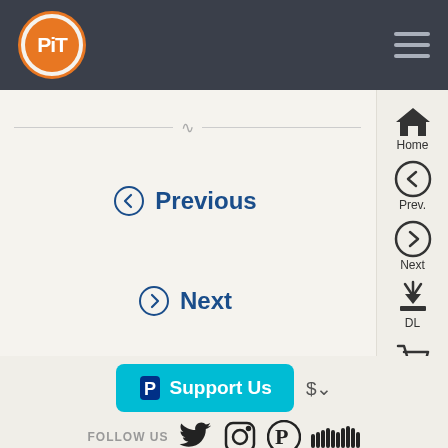[Figure (logo): PiT orange circle logo on dark navigation bar]
[Figure (infographic): Website navigation page showing Previous and Next navigation links with icons, right sidebar with Home, Prev., Next, DL, Buy icons]
Previous
Next
[Figure (infographic): PayPal Support Us button and social media follow icons: Twitter, Instagram, Pinterest, SoundCloud, and more]
FOLLOW US